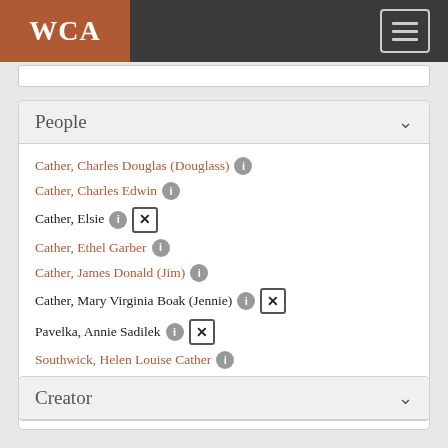WCA
People
Cather, Charles Douglas (Douglass) 1
Cather, Charles Edwin 1
Cather, Elsie 1 ×
Cather, Ethel Garber 1
Cather, James Donald (Jim) 1
Cather, Mary Virginia Boak (Jennie) 1 ×
Pavelka, Annie Sadilek 1 ×
Southwick, Helen Louise Cather 1
See more
Creator